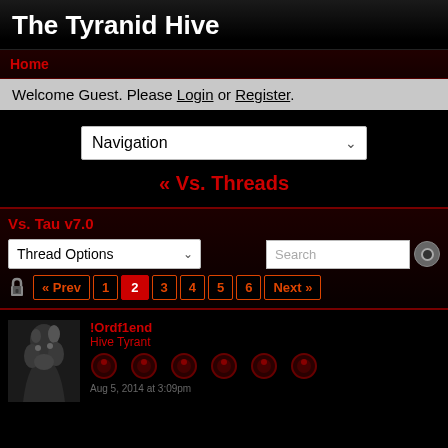The Tyranid Hive
Home
Welcome Guest. Please Login or Register.
[Figure (screenshot): Navigation dropdown selector]
« Vs. Threads
Vs. Tau v7.0
[Figure (screenshot): Thread Options dropdown and Search bar with pagination showing « Prev 1 2 3 4 5 6 Next »]
!Ordf1end
Hive Tyrant
Aug 5, 2014 at 3:09pm